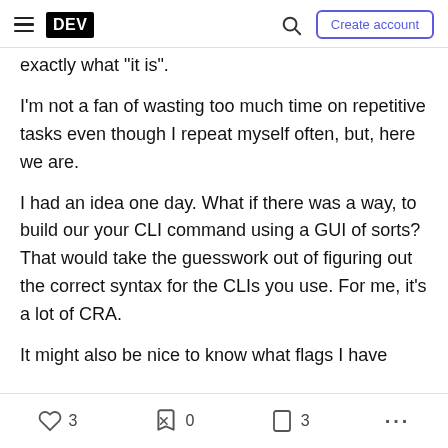DEV | Search | Create account
exactly what "it is".
I'm not a fan of wasting too much time on repetitive tasks even though I repeat myself often, but, here we are.
I had an idea one day. What if there was a way, to build our your CLI command using a GUI of sorts? That would take the guesswork out of figuring out the correct syntax for the CLIs you use. For me, it's a lot of CRA.
It might also be nice to know what flags I have
♡ 3   0   □ 3   ...